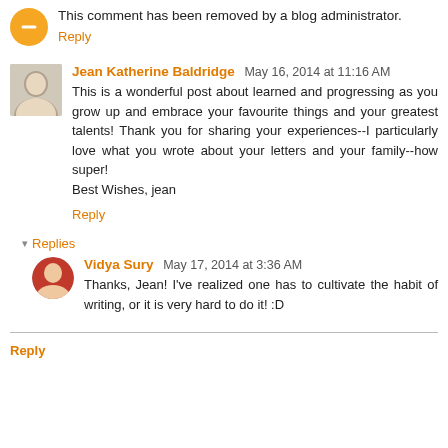This comment has been removed by a blog administrator.
Reply
Jean Katherine Baldridge May 16, 2014 at 11:16 AM
This is a wonderful post about learned and progressing as you grow up and embrace your favourite things and your greatest talents! Thank you for sharing your experiences--I particularly love what you wrote about your letters and your family--how super!
Best Wishes, jean
Reply
Replies
Vidya Sury May 17, 2014 at 3:36 AM
Thanks, Jean! I've realized one has to cultivate the habit of writing, or it is very hard to do it! :D
Reply